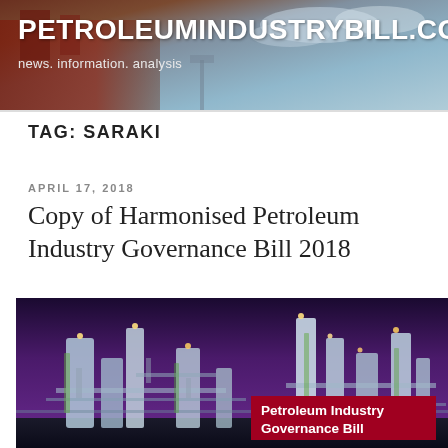PETROLEUMINDUSTRYBILL.CO
news. information. analysis
TAG: SARAKI
APRIL 17, 2018
Copy of Harmonised Petroleum Industry Governance Bill 2018
[Figure (photo): Petrochemical refinery plant at dusk with purple sky, industrial pipes and towers lit up, with a red overlay label reading 'Petroleum Industry Governance Bill']